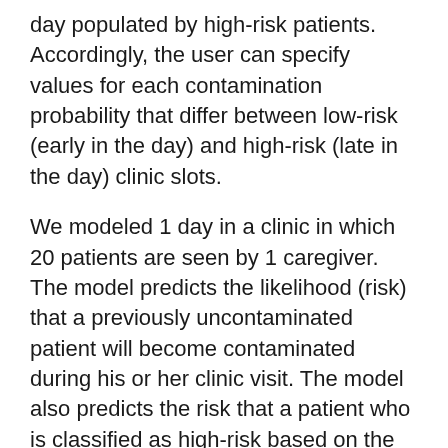day populated by high-risk patients. Accordingly, the user can specify values for each contamination probability that differ between low-risk (early in the day) and high-risk (late in the day) clinic slots.
We modeled 1 day in a clinic in which 20 patients are seen by 1 caregiver. The model predicts the likelihood (risk) that a previously uncontaminated patient will become contaminated during his or her clinic visit. The model also predicts the risk that a patient who is classified as high-risk based on the screening instrument, but who is not infectious, will be contaminated in the segregated configuration.
Figure 2 illustrates the effect of temporally segregating patients deemed to be at high risk of being infectious to clinic appointments late in the clinic schedule (panel A) and the consequences of